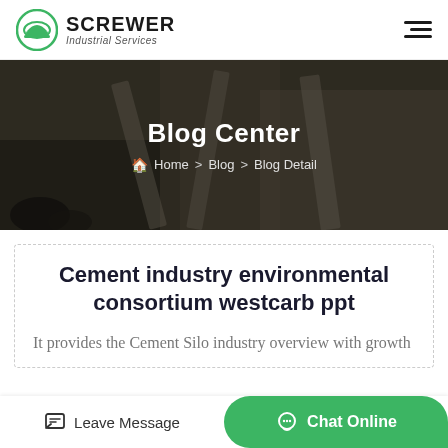SCREWER Industrial Services
Blog Center
Home > Blog > Blog Detail
Cement industry environmental consortium westcarb ppt
It provides the Cement Silo industry overview with growth
Leave Message
Chat Online